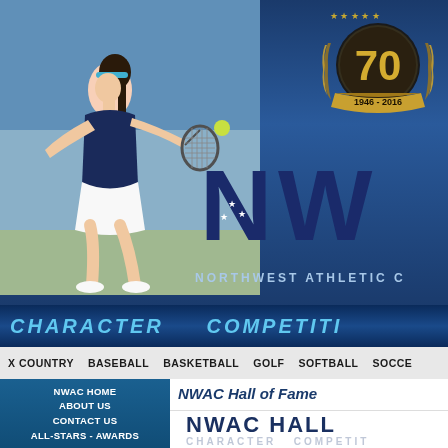[Figure (photo): NWAC website screenshot showing a female tennis player hitting a backhand shot, with the NWAC 70th anniversary badge (1946-2016), NW logo letters, NORTHWEST ATHLETIC text, CHARACTER COMPETITION banner, sports navigation bar, left sidebar with navigation links, and NWAC Hall of Fame content area]
CHARACTER   COMPETITI
X COUNTRY   BASEBALL   BASKETBALL   GOLF   SOFTBALL   SOCCE
NWAC Hall of Fame
NWAC HOME
ABOUT US
CONTACT US
ALL-STARS - AWARDS
CLUB 300 BOOSTERS
NWAC HALL
CHARACTER   COMPETIT